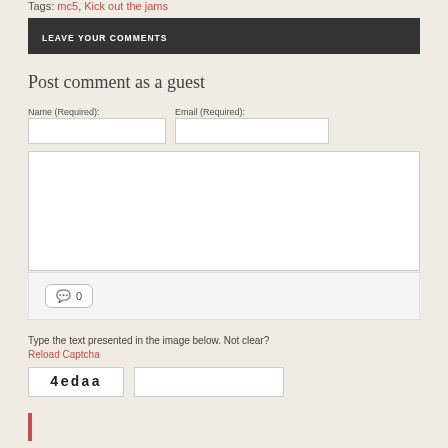Tags: mc5, Kick out the jams
LEAVE YOUR COMMENTS
Post comment as a guest
Name (Required):
Email (Required):
[Figure (screenshot): Comment count box showing speech bubble icon and 0]
Type the text presented in the image below. Not clear?
Reload Captcha
[Figure (screenshot): Captcha image showing text 4edaa]